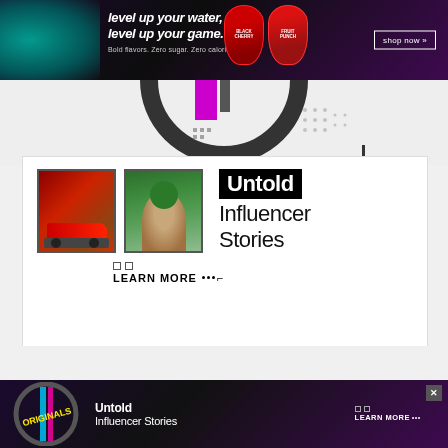[Figure (infographic): Top banner advertisement: dark purple/black gradient background with teal smoke on the left. Text reads 'level up your water, level up your game. Bold flavors. Zero sugar. Zero calories.' Two energy drink bottles (Black Cherry, Fruit Punch) in center. 'shop now »' button on right.]
[Figure (infographic): Circular TikTok-style logo graphic at top center of main content area with magenta/pink and black elements, dot patterns.]
[Figure (infographic): White content card showing two thumbnail images (red sports car, person with sunglasses in green setting) alongside text 'Untold Influencer Stories' with highlighted 'Untold' in black box. Learn More link with decorative dots below.]
[Figure (infographic): Bottom sticky banner advertisement with dark purple background. Originals logo on left with colorful graffiti text. Center text: 'Untold Influencer Stories'. Right side: 'LEARN MORE' with dot pattern. Close X button top right.]